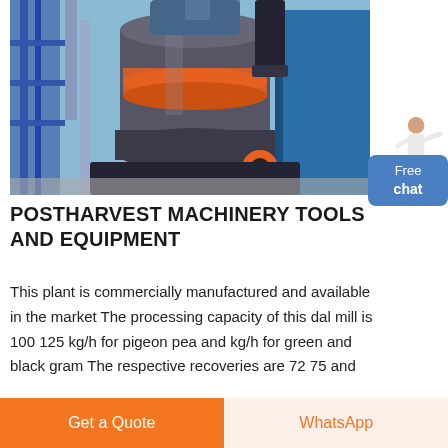[Figure (photo): Industrial dal mill / postharvest machinery — large cylindrical grinding mill with orange accent ring, surrounded by blue structural steel, pipes, and conveyors against a clear sky]
[Figure (illustration): Free chat customer service widget with a woman in white jacket gesturing, and a blue rounded rectangle button labelled 'Free chat']
POSTHARVEST MACHINERY TOOLS AND EQUIPMENT
This plant is commercially manufactured and available in the market The processing capacity of this dal mill is 100 125 kg/h for pigeon pea and kg/h for green and black gram The respective recoveries are 72 75 and
Get a Quote | WhatsApp